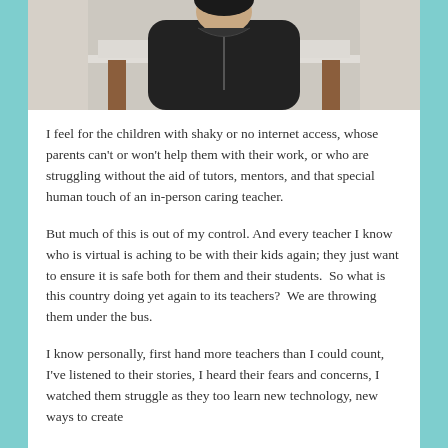[Figure (photo): Person seated in a chair wearing a black zip-up jacket, in front of an ornate white fireplace mantel]
I feel for the children with shaky or no internet access, whose parents can't or won't help them with their work, or who are struggling without the aid of tutors, mentors, and that special human touch of an in-person caring teacher.
But much of this is out of my control. And every teacher I know who is virtual is aching to be with their kids again; they just want to ensure it is safe both for them and their students.  So what is this country doing yet again to its teachers?  We are throwing them under the bus.
I know personally, first hand more teachers than I could count, I've listened to their stories, I heard their fears and concerns, I watched them struggle as they too learn new technology, new ways to create